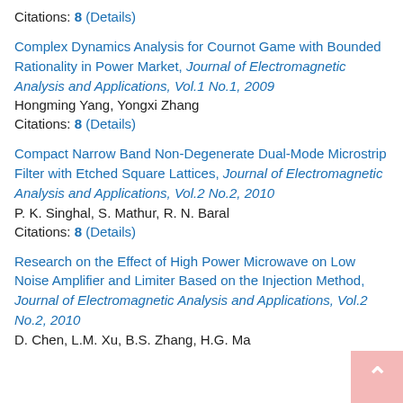Citations: 8 (Details)
Complex Dynamics Analysis for Cournot Game with Bounded Rationality in Power Market, Journal of Electromagnetic Analysis and Applications, Vol.1 No.1, 2009
Hongming Yang, Yongxi Zhang
Citations: 8 (Details)
Compact Narrow Band Non-Degenerate Dual-Mode Microstrip Filter with Etched Square Lattices, Journal of Electromagnetic Analysis and Applications, Vol.2 No.2, 2010
P. K. Singhal, S. Mathur, R. N. Baral
Citations: 8 (Details)
Research on the Effect of High Power Microwave on Low Noise Amplifier and Limiter Based on the Injection Method, Journal of Electromagnetic Analysis and Applications, Vol.2 No.2, 2010
D. Chen, L.M. Xu, B.S. Zhang, H.G. Ma